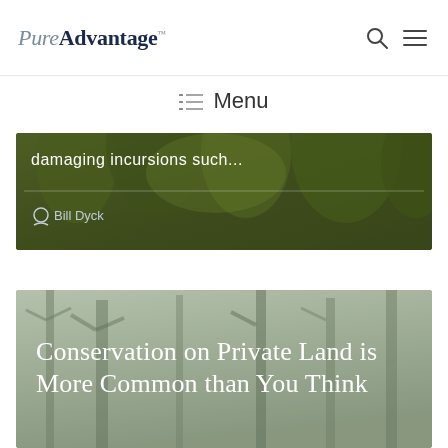PureAdvantage
Menu
[Figure (photo): Forest/woodland background with text overlay: 'damaging incursions such...' and author 'Bill Dyck']
[Figure (photo): Misty forest trees background with white text overlay: 'Conservation on Private Land is More Common than You Think']